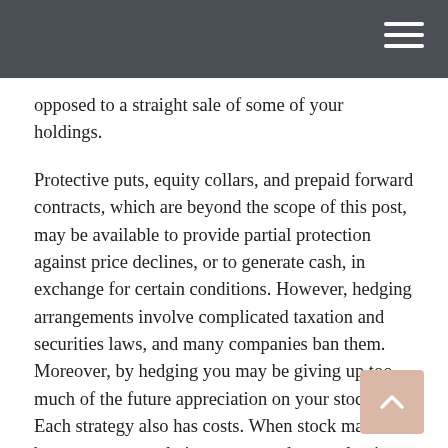opposed to a straight sale of some of your holdings.
Protective puts, equity collars, and prepaid forward contracts, which are beyond the scope of this post, may be available to provide partial protection against price declines, or to generate cash, in exchange for certain conditions. However, hedging arrangements involve complicated taxation and securities laws, and many companies ban them. Moreover, by hedging you may be giving up too much of the future appreciation on your stock. Each strategy also has costs. When stock markets bottom out, speculative excess and overvaluations get wrung out of the market, and many stocks are oversold for a while. These conditions reduce the need for certain price protections.
For some executives, selling, even for all the right reasons is difficult because of the job they do. If you have a role at your